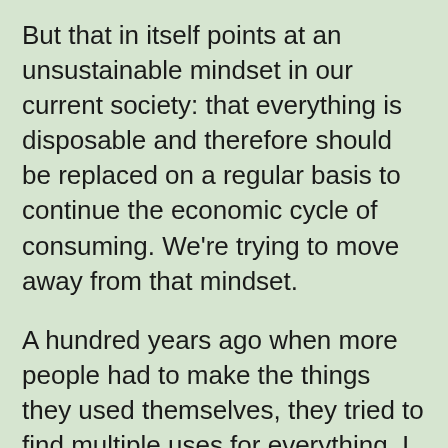But that in itself points at an unsustainable mindset in our current society: that everything is disposable and therefore should be replaced on a regular basis to continue the economic cycle of consuming. We’re trying to move away from that mindset.
A hundred years ago when more people had to make the things they used themselves, they tried to find multiple uses for everything. I have a doll cradle that my great grandfather made for my grandmother when she was a toddler. The wooden planks that he used to maker the doll furniture were recycled from an old carriage.